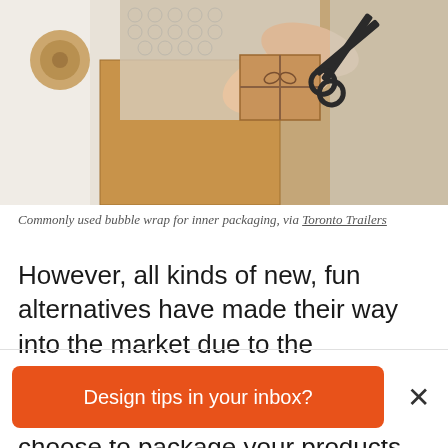[Figure (photo): Hands holding a kraft paper gift box wrapped with twine, surrounded by bubble wrap, cardboard boxes, and scissors — commonly used inner packaging materials.]
Commonly used bubble wrap for inner packaging, via Toronto Trailers
However, all kinds of new, fun alternatives have made their way into the market due to the environmental impact of soft plastics. For example, you can choose to package your products with corrugated paper instead of bubble wrap.
Design tips in your inbox?